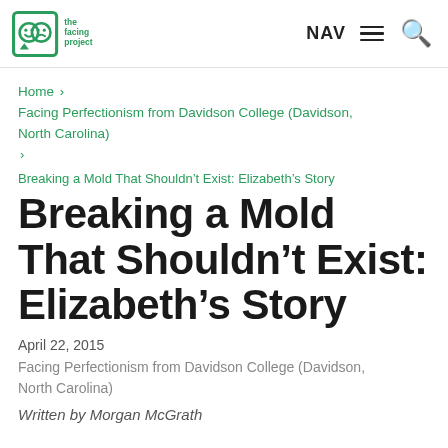the facing project | NAV [menu] [search]
Home > Facing Perfectionism from Davidson College (Davidson, North Carolina) > Breaking a Mold That Shouldn't Exist: Elizabeth's Story
Breaking a Mold That Shouldn't Exist: Elizabeth's Story
April 22, 2015
Facing Perfectionism from Davidson College (Davidson, North Carolina)
Written by Morgan McGrath